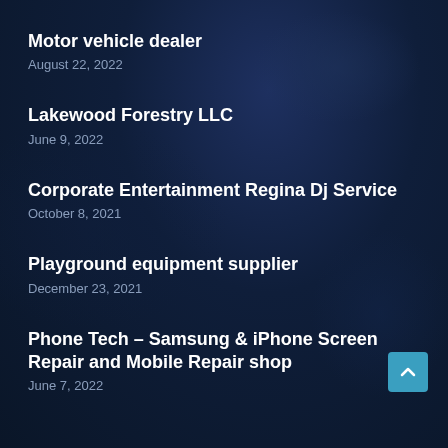Motor vehicle dealer
August 22, 2022
Lakewood Forestry LLC
June 9, 2022
Corporate Entertainment Regina Dj Service
October 8, 2021
Playground equipment supplier
December 23, 2021
Phone Tech – Samsung & iPhone Screen Repair and Mobile Repair shop
June 7, 2022